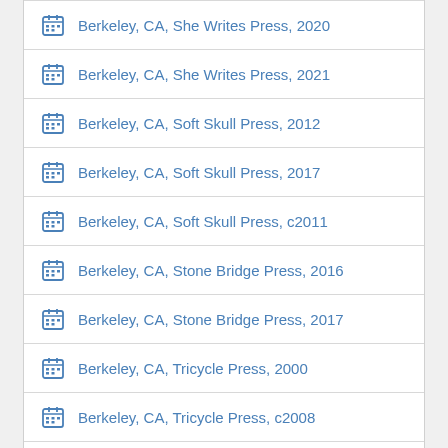Berkeley, CA, She Writes Press, 2020
Berkeley, CA, She Writes Press, 2021
Berkeley, CA, Soft Skull Press, 2012
Berkeley, CA, Soft Skull Press, 2017
Berkeley, CA, Soft Skull Press, c2011
Berkeley, CA, Stone Bridge Press, 2016
Berkeley, CA, Stone Bridge Press, 2017
Berkeley, CA, Tricycle Press, 2000
Berkeley, CA, Tricycle Press, c2008
Berkeley, CA, Tricycle Press, c2011
Berkeley, CA, Ulysses Press | Distributed by